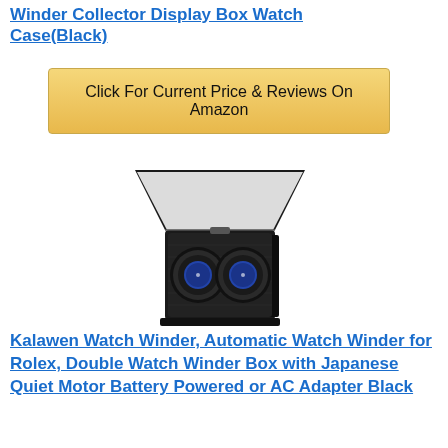Winder Collector Display Box Watch Case(Black)
[Figure (other): Gold/yellow button with text: Click For Current Price & Reviews On Amazon]
[Figure (photo): Photo of a black double watch winder box with two automatic watches inside, lid open, sitting on white background]
Kalawen Watch Winder, Automatic Watch Winder for Rolex, Double Watch Winder Box with Japanese Quiet Motor Battery Powered or AC Adapter Black